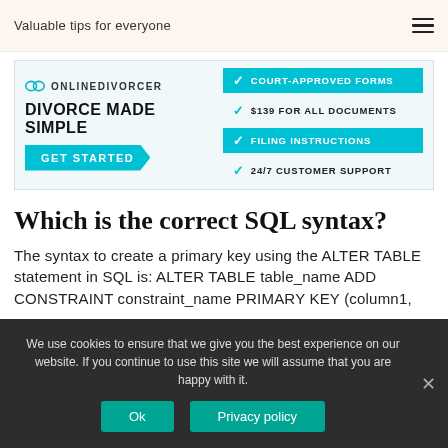Valuable tips for everyone
[Figure (infographic): OnlineDivorcer advertisement banner with logo, 'DIVORCE MADE SIMPLE' headline, GET STARTED button, and checklist: COURT-APPROVED FORMS, $139 FOR ALL DOCUMENTS, FILING INSTRUCTIONS, 24/7 CUSTOMER SUPPORT]
Which is the correct SQL syntax?
The syntax to create a primary key using the ALTER TABLE statement in SQL is: ALTER TABLE table_name ADD CONSTRAINT constraint_name PRIMARY KEY (column1,
We use cookies to ensure that we give you the best experience on our website. If you continue to use this site we will assume that you are happy with it.